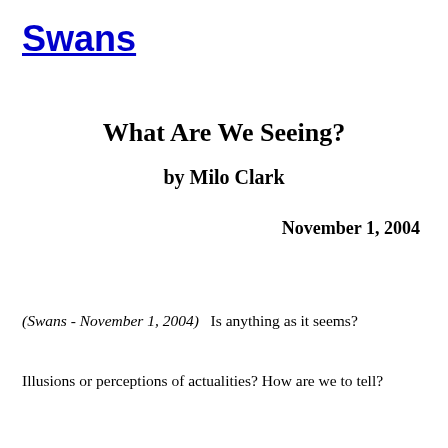Swans
What Are We Seeing?
by Milo Clark
November 1, 2004
(Swans - November 1, 2004)   Is anything as it seems?
Illusions or perceptions of actualities? How are we to tell?
From the text that continues below...